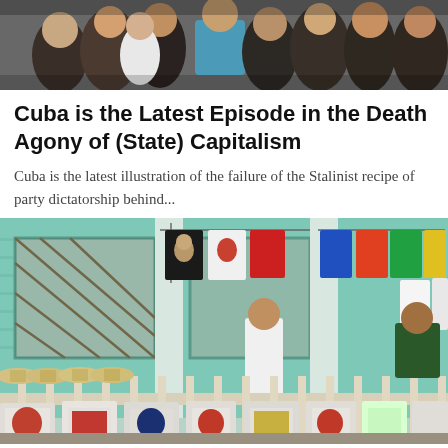[Figure (photo): Crowd of people, photo from above/street level, urban scene]
Cuba is the Latest Episode in the Death Agony of (State) Capitalism
Cuba is the latest illustration of the failure of the Stalinist recipe of party dictatorship behind...
[Figure (photo): Street market scene in Cuba with a turquoise building, t-shirts and colorful clothing hanging on display, straw hats and tote bags with Che Guevara and Cuban flag images for sale, person standing behind the display, and another person sitting to the right]